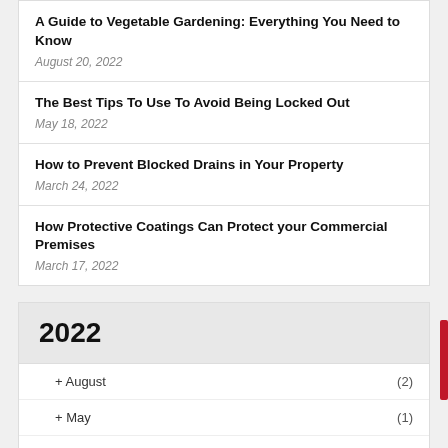A Guide to Vegetable Gardening: Everything You Need to Know
August 20, 2022
The Best Tips To Use To Avoid Being Locked Out
May 18, 2022
How to Prevent Blocked Drains in Your Property
March 24, 2022
How Protective Coatings Can Protect your Commercial Premises
March 17, 2022
2022
+ August (2)
+ May (1)
+ March (8)